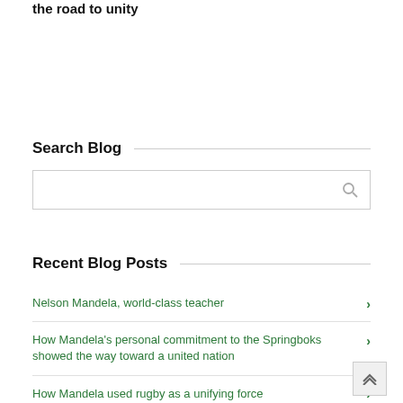How the US could get on the road to unity
Search Blog
Recent Blog Posts
Nelson Mandela, world-class teacher
How Mandela's personal commitment to the Springboks showed the way toward a united nation
How Mandela used rugby as a unifying force